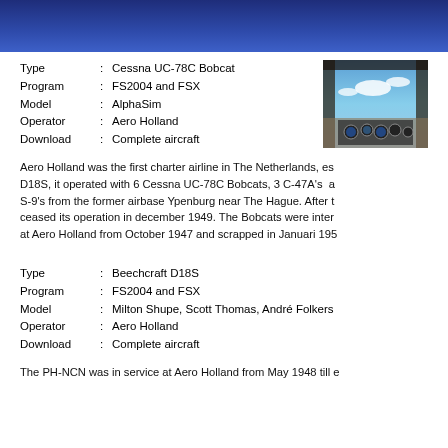[Figure (photo): Blue header bar with gradient, aviation themed]
| Type | : Cessna UC-78C Bobcat |
| Program | : FS2004 and FSX |
| Model | : AlphaSim |
| Operator | : Aero Holland |
| Download | : Complete aircraft |
[Figure (photo): Cockpit view photo of aircraft]
Aero Holland was the first charter airline in The Netherlands, es... D18S, it operated with 6 Cessna UC-78C Bobcats, 3 C-47A's  a... S-9's from the former airbase Ypenburg near The Hague. After t... ceased its operation in december 1949. The Bobcats were inter... at Aero Holland from October 1947 and scrapped in Januari 195...
| Type | : Beechcraft D18S |
| Program | : FS2004 and FSX |
| Model | : Milton Shupe, Scott Thomas, André Folkers |
| Operator | : Aero Holland |
| Download | : Complete aircraft |
The PH-NCN was in service at Aero Holland from May 1948 till e...